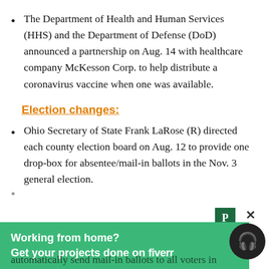The Department of Health and Human Services (HHS) and the Department of Defense (DoD) announced a partnership on Aug. 14 with healthcare company McKesson Corp. to help distribute a coronavirus vaccine when one was available.
Election changes:
Ohio Secretary of State Frank LaRose (R) directed each county election board on Aug. 12 to provide one drop-box for absentee/mail-in ballots in the Nov. 3 general election.
[Figure (other): Advertisement banner: 'Working from home? Get your projects done on fiverr' with green background, P icon, X close button, and headphone circle icon.]
automatically send mail-in ballots to all voters in